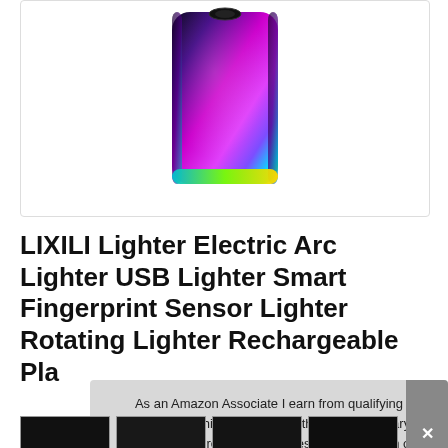[Figure (photo): Product photo of a rainbow/holographic electric arc lighter against a white background, showing a sleek rectangular lighter with iridescent purple-pink-blue-green metallic finish]
LIXILI Lighter Electric Arc Lighter USB Lighter Smart Fingerprint Sensor Lighter Rotating Lighter Rechargeable Pla
As an Amazon Associate I earn from qualifying purchases. This website uses the only necessary cookies to ensure you get the best experience on our website. More information
[Figure (photo): Row of product thumbnail images showing the lighter from various angles]